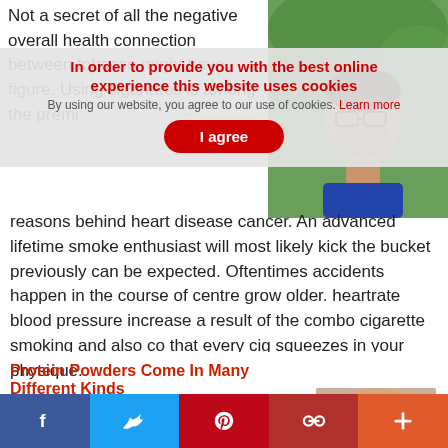Not a secret of all the negative overall health connection between tobacco might have figure. Using cigarettes is among the premi...
[Figure (photo): Man looking upward outdoors with green foliage background]
In order to provide you with the best online experience this website uses cookies
By using our website, you agree to our use of cookies. Learn more
I agree
reasons behind heart disease cancer. An advanced lifetime smoke enthusiast will most likely kick the bucket previously can be expected. Oftentimes accidents happen in the course of centre grow older. heartrate blood pressure increase a result of the combo cigarette smoking and also co that every cig squeezes in your physique.
Protein Powders Come In Many Different Kinds
If you are researching
[Figure (photo): Close up of person's face, eyes visible above nose]
f  Twitter  Pinterest  chain-link  +